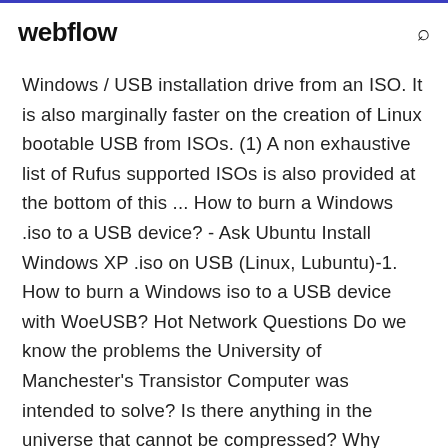webflow
Windows / USB installation drive from an ISO. It is also marginally faster on the creation of Linux bootable USB from ISOs. (1) A non exhaustive list of Rufus supported ISOs is also provided at the bottom of this ... How to burn a Windows .iso to a USB device? - Ask Ubuntu Install Windows XP .iso on USB (Linux, Lubuntu)-1. How to burn a Windows iso to a USB device with WoeUSB? Hot Network Questions Do we know the problems the University of Manchester's Transistor Computer was intended to solve? Is there anything in the universe that cannot be compressed? Why does dough containing a small amount of terumah become ... LinuxLive USB Creator LinuxLive USB Creator Powerful